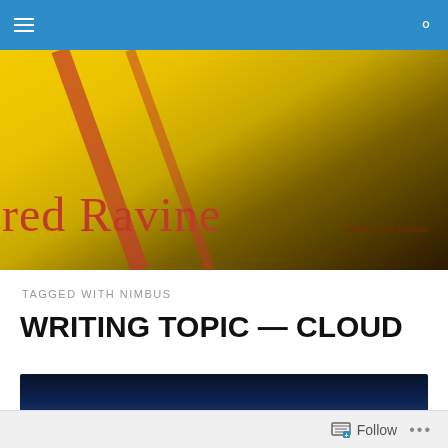Navigation bar with menu and search icons
[Figure (photo): Website banner for 'red Ravine' blog with yellow/gold abstract background and red diagonal streaks. Blog title 'red Ravine' in red serif font with tagline 'walk to the bottom' in smaller red text on the right.]
TAGGED WITH NIMBUS
WRITING TOPIC — CLOUD
[Figure (photo): Partial view of a cloudy sky photograph with dark blue sky and white clouds visible at the bottom edge.]
Follow   •••